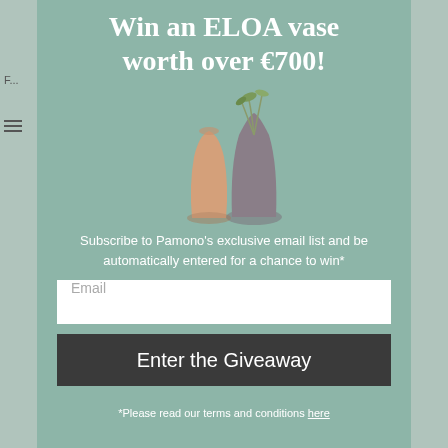Win an ELOA vase worth over €700!
[Figure (illustration): Three decorative glass vases of different sizes and shapes, one with dried foliage]
Subscribe to Pamono's exclusive email list and be automatically entered for a chance to win*
Email
Enter the Giveaway
*Please read our terms and conditions here